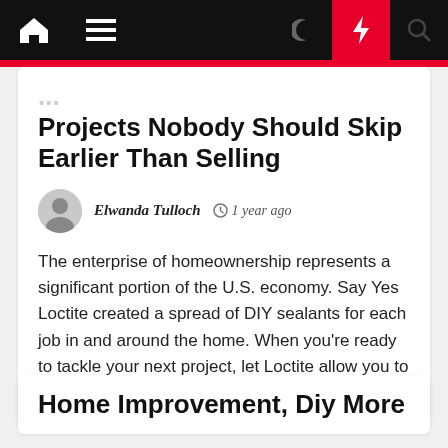Navigation bar with home, menu, dark mode, flash, and search icons
Projects Nobody Should Skip Earlier Than Selling
Elwanda Tulloch  1 year ago
The enterprise of homeownership represents a significant portion of the U.S. economy. Say Yes Loctite created a spread of DIY sealants for each job in and around the home. When you're ready to tackle your next project, let Loctite allow you to get the proper end™. With a staff of [...]
Home Improvement, Diy More